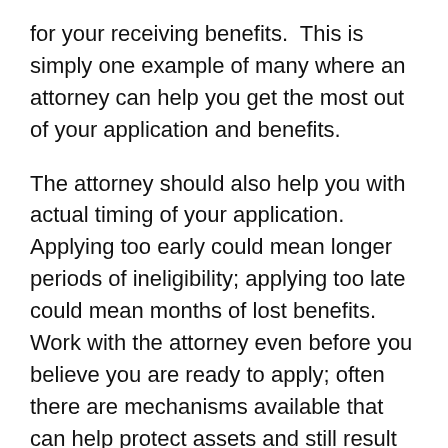for your receiving benefits.  This is simply one example of many where an attorney can help you get the most out of your application and benefits.
The attorney should also help you with actual timing of your application.  Applying too early could mean longer periods of ineligibility; applying too late could mean months of lost benefits.  Work with the attorney even before you believe you are ready to apply; often there are mechanisms available that can help protect assets and still result in you being eligible for Medicaid.  These can be complex and more often than not, people who attempt to Medicaid plan on their own wind up in a worse position than they were before the planning.
When seeking out legal counsel, make sure you are